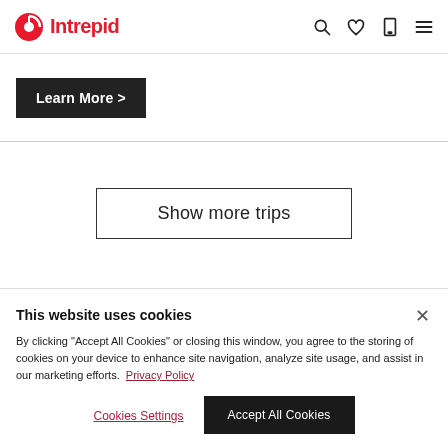Intrepid
Learn More >
Show more trips
Tours to Broome Reviews
This website uses cookies
By clicking "Accept All Cookies" or closing this window, you agree to the storing of cookies on your device to enhance site navigation, analyze site usage, and assist in our marketing efforts. Privacy Policy
Cookies Settings
Accept All Cookies